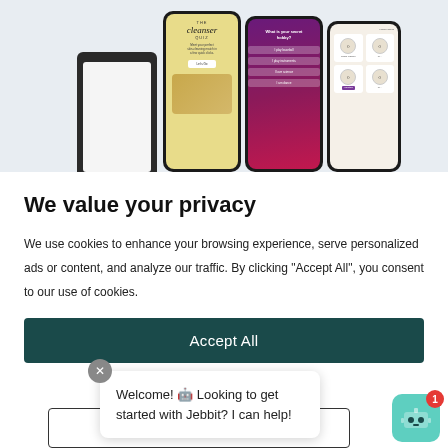[Figure (screenshot): Screenshot of a website showing three mobile phone screens displaying: a cleanser quiz app (yellow background), a 'What is your secret hobby?' quiz (purple/red gradient background with multiple choice options), and a skin type selector (beige background with face icons). A laptop is also partially visible on the left.]
We value your privacy
We use cookies to enhance your browsing experience, serve personalized ads or content, and analyze our traffic. By clicking "Accept All", you consent to our use of cookies.
Accept All
Custo
Welcome! 🤖 Looking to get started with Jebbit? I can help!